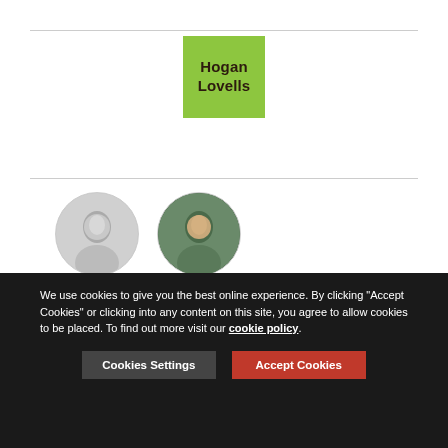[Figure (logo): Hogan Lovells logo — green square with company name in dark text]
[Figure (photo): Two circular portrait photos of attorneys — female on left (black and white), male on right (color)]
China | May 31 2009
On April 16, 2009, the Ministry of Finance (MOF) and the State Administration for Taxation (SAT) jointly issued the Circular on Policies Regarding Pre-Tax Deductions of Asset
We use cookies to give you the best online experience. By clicking "Accept Cookies" or clicking into any content on this site, you agree to allow cookies to be placed. To find out more visit our cookie policy.